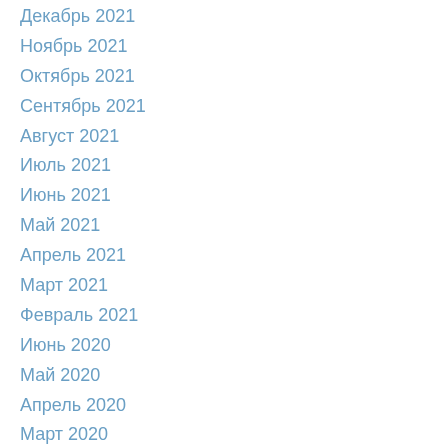Декабрь 2021
Ноябрь 2021
Октябрь 2021
Сентябрь 2021
Август 2021
Июль 2021
Июнь 2021
Май 2021
Апрель 2021
Март 2021
Февраль 2021
Июнь 2020
Май 2020
Апрель 2020
Март 2020
Февраль 2020
Январь 2020
Декабрь 2019